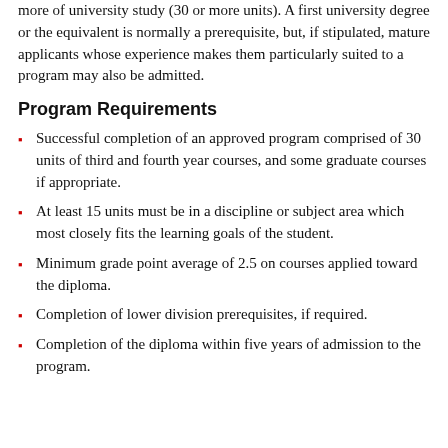more of university study (30 or more units). A first university degree or the equivalent is normally a prerequisite, but, if stipulated, mature applicants whose experience makes them particularly suited to a program may also be admitted.
Program Requirements
Successful completion of an approved program comprised of 30 units of third and fourth year courses, and some graduate courses if appropriate.
At least 15 units must be in a discipline or subject area which most closely fits the learning goals of the student.
Minimum grade point average of 2.5 on courses applied toward the diploma.
Completion of lower division prerequisites, if required.
Completion of the diploma within five years of admission to the program.